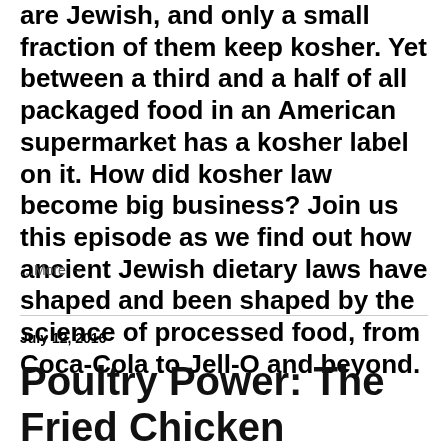are Jewish, and only a small fraction of them keep kosher. Yet between a third and a half of all packaged food in an American supermarket has a kosher label on it. How did kosher law become big business? Join us this episode as we find out how ancient Jewish dietary laws have shaped and been shaped by the science of processed food, from Coca-Cola to Jell-O and beyond.
…More →
July 12, 2016
Poultry Power: The Fried Chicken Chronicles